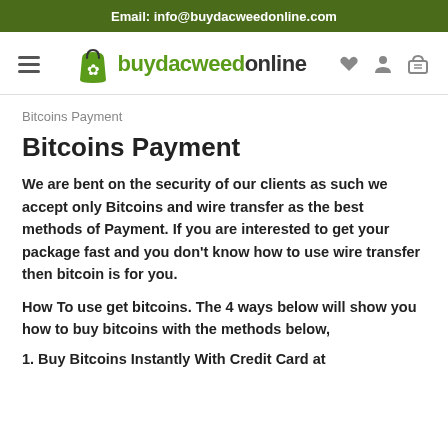Email: info@buydacweedonline.com
[Figure (logo): Buydacweedonline logo with green shopping bag icon containing a cannabis leaf, alongside the text 'buydacweedonline' in green and dark styling, with hamburger menu, heart, user, and basket icons]
Bitcoins Payment
Bitcoins Payment
We are bent on the security of our clients as such we accept only Bitcoins and wire transfer as the best methods of Payment. If you are interested to get your package fast and you don't know how to use wire transfer then bitcoin is for you.
How To use get bitcoins. The 4 ways below will show you how to buy bitcoins with the methods below,
1. Buy Bitcoins Instantly With Credit Card at...